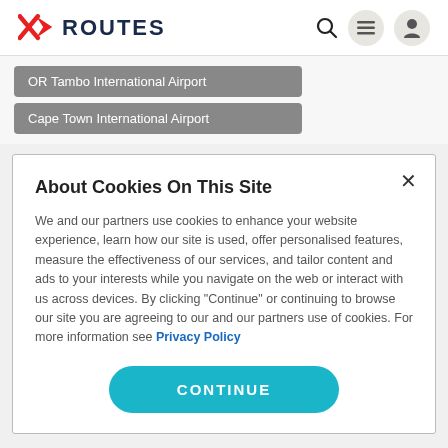ROUTES
OR Tambo International Airport
Cape Town International Airport
About Cookies On This Site
We and our partners use cookies to enhance your website experience, learn how our site is used, offer personalised features, measure the effectiveness of our services, and tailor content and ads to your interests while you navigate on the web or interact with us across devices. By clicking "Continue" or continuing to browse our site you are agreeing to our and our partners use of cookies. For more information see Privacy Policy
CONTINUE